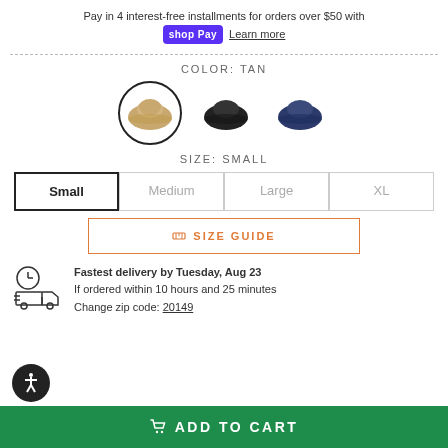Pay in 4 interest-free installments for orders over $50 with shop Pay Learn more
[Figure (infographic): Color swatches showing three flat caps: Tan (selected, with circle border), Black, and Navy]
COLOR: TAN
SIZE: SMALL
Small
Medium
Large
XL
SIZE GUIDE
Fastest delivery by Tuesday, Aug 23
If ordered within 10 hours and 25 minutes
Change zip code: 20149
ADD TO CART